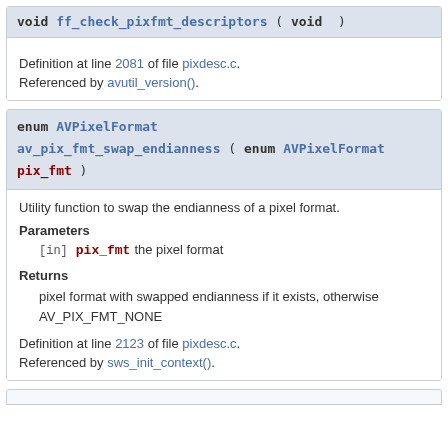void ff_check_pixfmt_descriptors ( void )
Definition at line 2081 of file pixdesc.c.
Referenced by avutil_version().
enum AVPixelFormat av_pix_fmt_swap_endianness ( enum AVPixelFormat pix_fmt )
Utility function to swap the endianness of a pixel format.
Parameters
[in] pix_fmt the pixel format
Returns
pixel format with swapped endianness if it exists, otherwise AV_PIX_FMT_NONE
Definition at line 2123 of file pixdesc.c.
Referenced by sws_init_context().